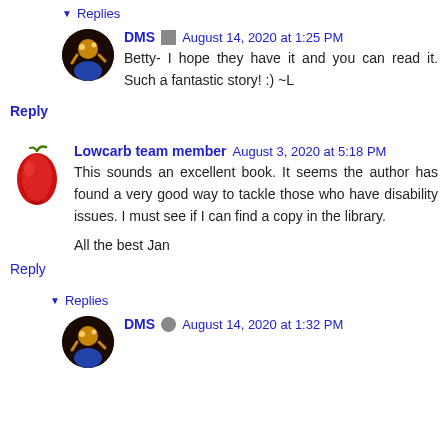▾ Replies
DMS  August 14, 2020 at 1:25 PM
Betty- I hope they have it and you can read it. Such a fantastic story! :) ~L
Reply
Lowcarb team member  August 3, 2020 at 5:18 PM
This sounds an excellent book. It seems the author has found a very good way to tackle those who have disability issues. I must see if I can find a copy in the library.

All the best Jan
Reply
▾ Replies
DMS  August 14, 2020 at 1:32 PM